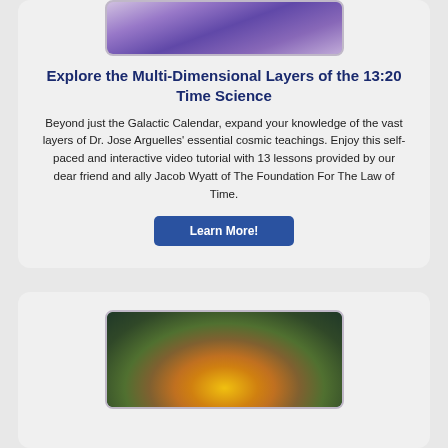[Figure (photo): Purple/violet colored abstract or cosmic image at top of first card]
Explore the Multi-Dimensional Layers of the 13:20 Time Science
Beyond just the Galactic Calendar, expand your knowledge of the vast layers of Dr. Jose Arguelles' essential cosmic teachings. Enjoy this self-paced and interactive video tutorial with 13 lessons provided by our dear friend and ally Jacob Wyatt of The Foundation For The Law of Time.
Learn More!
[Figure (illustration): Colorful mandala/calendar wheel illustration with rainbow arc and golden center symbol at bottom of page]